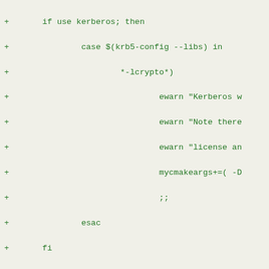[Figure (screenshot): Code diff snippet showing shell script lines with green '+' markers on a light background. Lines include kerberos config, qt5 setup, python_setup call, and mycmakeargs assignments.]